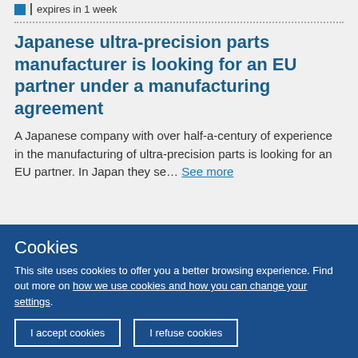expires in 1 week
Japanese ultra-precision parts manufacturer is looking for an EU partner under a manufacturing agreement
A Japanese company with over half-a-century of experience in the manufacturing of ultra-precision parts is looking for an EU partner. In Japan they se... See more
Cookies
This site uses cookies to offer you a better browsing experience. Find out more on how we use cookies and how you can change your settings.
I accept cookies
I refuse cookies